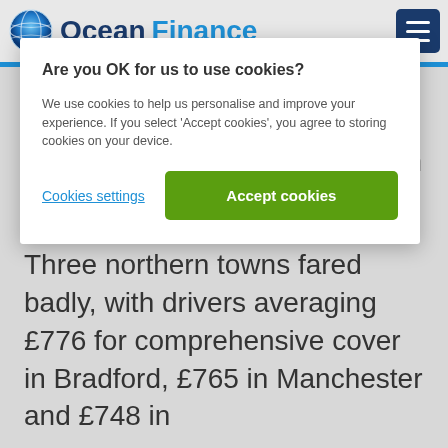[Figure (logo): Ocean Finance logo with globe icon and navigation menu hamburger button]
Are you OK for us to use cookies?
We use cookies to help us personalise and improve your experience. If you select 'Accept cookies', you agree to storing cookies on your device.
Cookies settings
Accept cookies
than North London were also high at £855 and £832 respectively. South-east London was a little less at £755.
Three northern towns fared badly, with drivers averaging £776 for comprehensive cover in Bradford, £765 in Manchester and £748 in